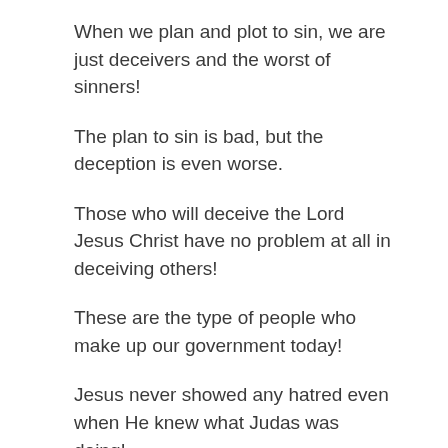When we plan and plot to sin, we are just deceivers and the worst of sinners!
The plan to sin is bad, but the deception is even worse.
Those who will deceive the Lord Jesus Christ have no problem at all in deceiving others!
These are the type of people who make up our government today!
Jesus never showed any hatred even when He knew what Judas was doing!
*Mat 26:50 And Jesus said unto him, Friend, wherefore art thou come? Then came they, and laid hands on Jesus, and took him.